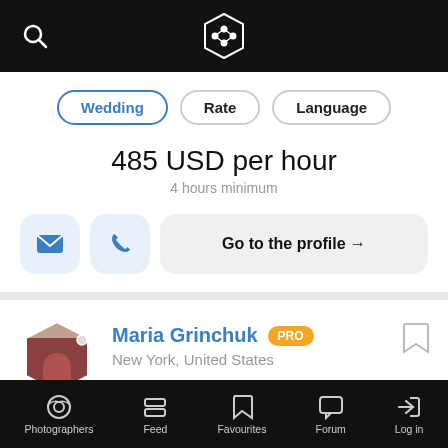App top navigation bar with search icon and logo
Wedding
Rate
Language
485 USD per hour
4 hours minimum
Go to the profile →
Maria Grinchuk PRO
New York, United States
Let's have fun and make memories.
Photographers  Feed  Favourites  Forum  Log in